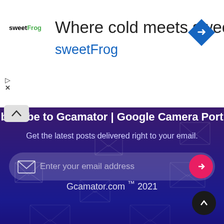[Figure (screenshot): SweetFrog advertisement banner with logo, title 'Where cold meets sweet', subtitle 'sweetFrog', and a blue diamond navigation icon]
Subscribe to Gcamator | Google Camera Port
Get the latest posts delivered right to your email.
Enter your email address
Gcamator.com ™ 2021